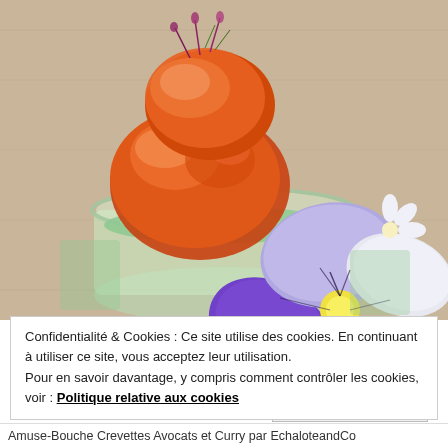[Figure (photo): Close-up food photo of a glazed fried shrimp/prawn dish in a small glass jar with green avocado cream, garnished with a purple and white pansy flower and micro herbs on a wooden surface.]
Confidentialité & Cookies : Ce site utilise des cookies. En continuant à utiliser ce site, vous acceptez leur utilisation.
Pour en savoir davantage, y compris comment contrôler les cookies, voir : Politique relative aux cookies
Fermer et accepter
Amuse-Bouche Crevettes Avocats et Curry par EchaloteandCo